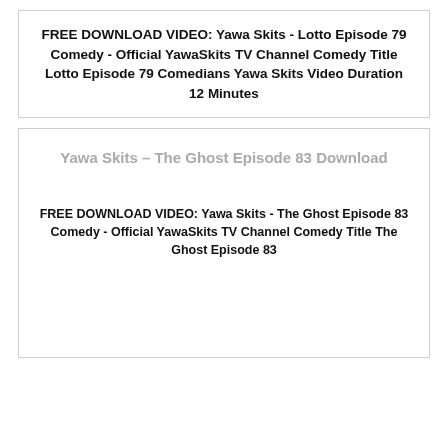FREE DOWNLOAD VIDEO: Yawa Skits - Lotto Episode 79 Comedy - Official YawaSkits TV Channel Comedy Title Lotto Episode 79 Comedians Yawa Skits Video Duration 12 Minutes
Yawa Skits – The Ghost Episode 83 Download
FREE DOWNLOAD VIDEO: Yawa Skits - The Ghost Episode 83 Comedy - Official YawaSkits TV Channel Comedy Title The Ghost Episode 83